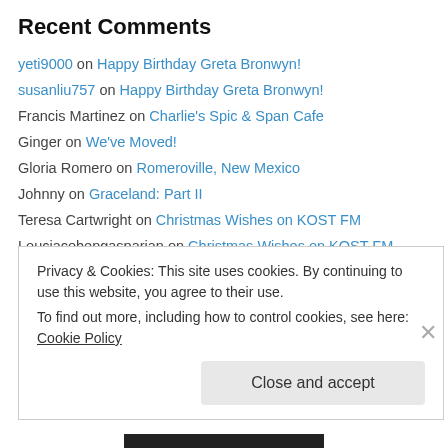Recent Comments
yeti9000 on Happy Birthday Greta Bronwyn!
susanliu757 on Happy Birthday Greta Bronwyn!
Francis Martinez on Charlie's Spic & Span Cafe
Ginger on We've Moved!
Gloria Romero on Romeroville, New Mexico
Johnny on Graceland: Part II
Teresa Cartwright on Christmas Wishes on KOST FM
Louciacohengasparian on Christmas Wishes on KOST FM
Tess on Christine's award-winning Gingerbread House Bundt Cake
JEANETTE on Christmas Wishes on KOST FM
hamlet shahoian on Christmas Wishes on KOST FM
Privacy & Cookies: This site uses cookies. By continuing to use this website, you agree to their use. To find out more, including how to control cookies, see here: Cookie Policy
Close and accept